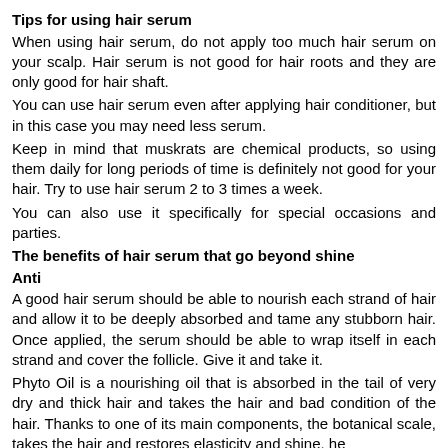Tips for using hair serum
When using hair serum, do not apply too much hair serum on your scalp. Hair serum is not good for hair roots and they are only good for hair shaft.
You can use hair serum even after applying hair conditioner, but in this case you may need less serum.
Keep in mind that muskrats are chemical products, so using them daily for long periods of time is definitely not good for your hair. Try to use hair serum 2 to 3 times a week.
You can also use it specifically for special occasions and parties.
The benefits of hair serum that go beyond shine
Anti
A good hair serum should be able to nourish each strand of hair and allow it to be deeply absorbed and tame any stubborn hair. Once applied, the serum should be able to wrap itself in each strand and cover the follicle. Give it and take it.
Phyto Oil is a nourishing oil that is absorbed in the tail of very dry and thick hair and takes the hair and bad condition of the hair. Thanks to one of its main components, the botanical scale, takes the hair and restores elasticity and shine. he